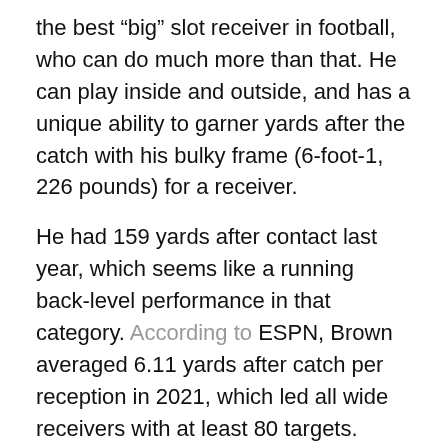the best “big” slot receiver in football, who can do much more than that. He can play inside and outside, and has a unique ability to garner yards after the catch with his bulky frame (6-foot-1, 226 pounds) for a receiver.
He had 159 yards after contact last year, which seems like a running back-level performance in that category. According to ESPN, Brown averaged 6.11 yards after catch per reception in 2021, which led all wide receivers with at least 80 targets. Quite simply, he is the best “YAC” wide receiver in the league.
Brown also specializes on in-breaking routes downfield, and should have more room to operate in the middle of the field with Julio Jones incoming as Tennessee’s No. 1 option on the perimeter.
He’s a unique player whose best seasons are yet to